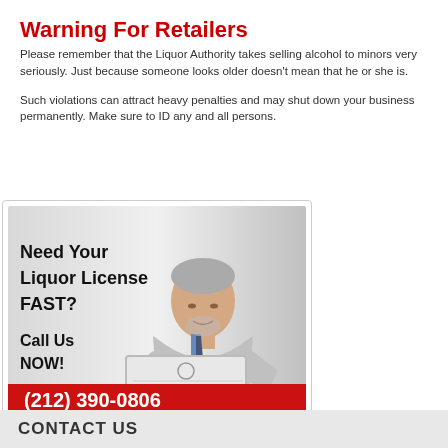Warning For Retailers
Please remember that the Liquor Authority takes selling alcohol to minors very seriously. Just because someone looks older doesn't mean that he or she is.
Such violations can attract heavy penalties and may shut down your business permanently. Make sure to ID any and all persons.
[Figure (illustration): Advertisement showing a businessman in a grey suit holding a liquor license certificate with text 'Need Your Liquor License FAST? Call Us NOW!' and phone number (212) 390-0806 on a red banner]
CONTACT US